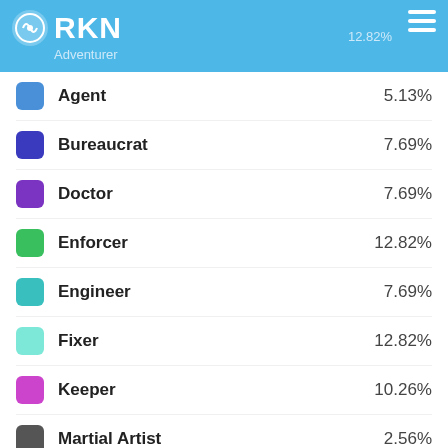RKN Adventurer 12.82%
Agent 5.13%
Bureaucrat 7.69%
Doctor 7.69%
Enforcer 12.82%
Engineer 7.69%
Fixer 12.82%
Keeper 10.26%
Martial Artist 2.56%
Meta-Physicist 7.69%
Nano-Technician 2.56%
Soldi... 7.69%